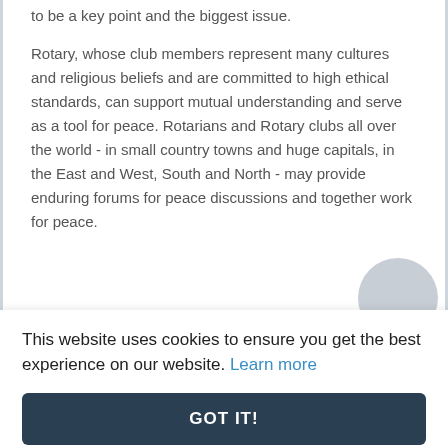to be a key point and the biggest issue.
Rotary, whose club members represent many cultures and religious beliefs and are committed to high ethical standards, can support mutual understanding and serve as a tool for peace. Rotarians and Rotary clubs all over the world - in small country towns and huge capitals, in the East and West, South and North - may provide enduring forums for peace discussions and together work for peace.
This website uses cookies to ensure you get the best experience on our website. Learn more
GOT IT!